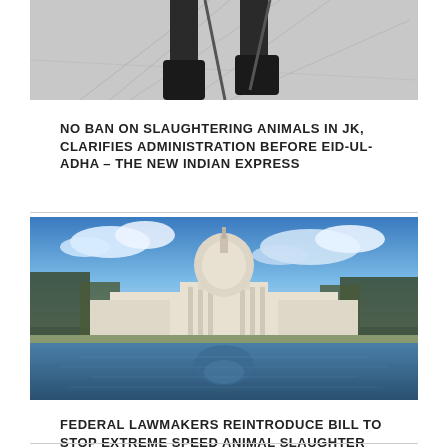[Figure (photo): Security personnel standing on a surface with wire/barrier arrangements, viewed from below the knees]
NO BAN ON SLAUGHTERING ANIMALS IN JK, CLARIFIES ADMINISTRATION BEFORE EID-UL-ADHA – THE NEW INDIAN EXPRESS
[Figure (photo): The United States Capitol building reflected in the Capitol Reflecting Pool on a clear day with blue sky and clouds]
FEDERAL LAWMAKERS REINTRODUCE BILL TO STOP EXTREME SPEED ANIMAL SLAUGHTER DURING COVID-19